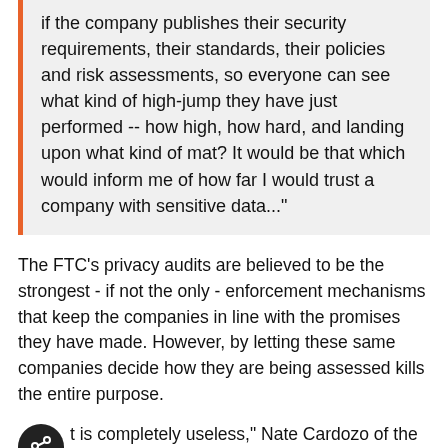if the company publishes their security requirements, their standards, their policies and risk assessments, so everyone can see what kind of high-jump they have just performed -- how high, how hard, and landing upon what kind of mat? It would be that which would inform me of how far I would trust a company with sensitive data..."
The FTC's privacy audits are believed to be the strongest - if not the only - enforcement mechanisms that keep the companies in line with the promises they have made. However, by letting these same companies decide how they are being assessed kills the entire purpose.
t is completely useless," Nate Cardozo of the Electronic Frontier Foundation said. "It's not just toothless, it's worse than toothless. It's asking the fox to guard the henhouse. If the FTC had chosen an